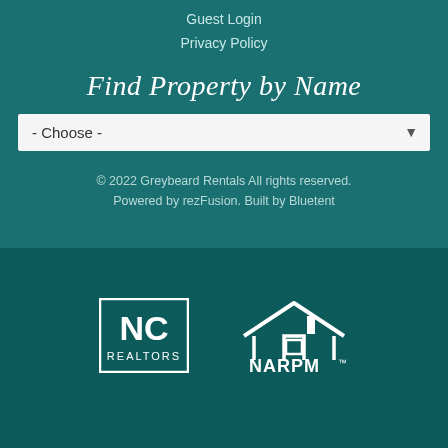Guest Login
Privacy Policy
Find Property by Name
- Choose -
© 2022 Greybeard Rentals All rights reserved. Powered by rezFusion. Built by Bluetent
[Figure (logo): NC Realtors logo - white square with NC and REALTORS text]
[Figure (logo): NARPM logo - white house/roof icon with NARPM™ text]
[Figure (logo): VRMA logo - white text with arrow]
[Figure (logo): Circular logo with native/owl design]